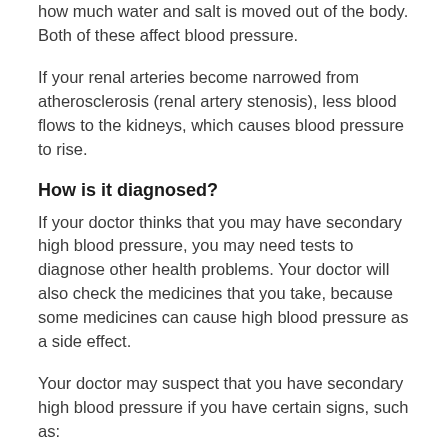how much water and salt is moved out of the body. Both of these affect blood pressure.
If your renal arteries become narrowed from atherosclerosis (renal artery stenosis), less blood flows to the kidneys, which causes blood pressure to rise.
How is it diagnosed?
If your doctor thinks that you may have secondary high blood pressure, you may need tests to diagnose other health problems. Your doctor will also check the medicines that you take, because some medicines can cause high blood pressure as a side effect.
Your doctor may suspect that you have secondary high blood pressure if you have certain signs, such as: